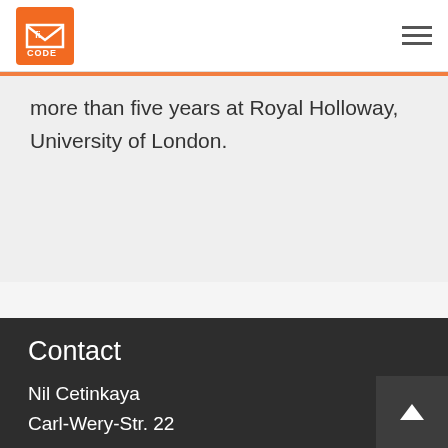FICODE logo and navigation menu
more than five years at Royal Holloway, University of London.
Contact
Nil Cetinkaya
Carl-Wery-Str. 22
81739 München
Germany